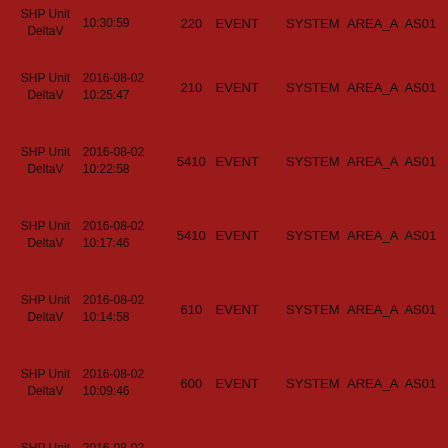| Source | DateTime | Code | Type | System | Area | ID |
| --- | --- | --- | --- | --- | --- | --- |
| SHP Unit DeltaV | 2016-08-02 10:30:59 | 220 | EVENT | SYSTEM | AREA_A | AS01 |
| SHP Unit DeltaV | 2016-08-02 10:25:47 | 210 | EVENT | SYSTEM | AREA_A | AS01 |
| SHP Unit DeltaV | 2016-08-02 10:22:58 | 5410 | EVENT | SYSTEM | AREA_A | AS01 |
| SHP Unit DeltaV | 2016-08-02 10:17:46 | 5410 | EVENT | SYSTEM | AREA_A | AS01 |
| SHP Unit DeltaV | 2016-08-02 10:14:58 | 610 | EVENT | SYSTEM | AREA_A | AS01 |
| SHP Unit DeltaV | 2016-08-02 10:09:46 | 600 | EVENT | SYSTEM | AREA_A | AS01 |
| SHP Unit DeltaV | 2016-08-02 10:06:57 | 5800 | EVENT | SYSTEM | AREA_A | AS01 |
| SHP Unit DeltaV | 2016-08-02 |  | EVENT | SYSTEM | AREA_A |  |